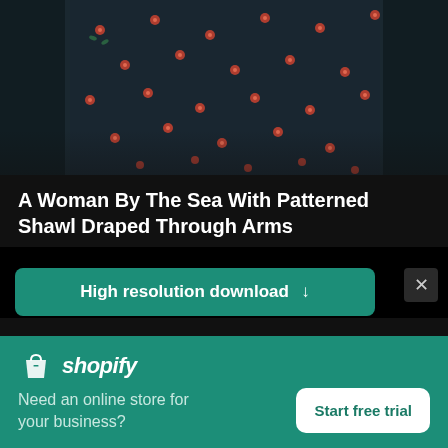[Figure (photo): Close-up photo of a woman wearing a dark navy/black patterned shawl with small floral or decorative motifs, draped through her arms, near the sea.]
A Woman By The Sea With Patterned Shawl Draped Through Arms
High resolution download ↓
[Figure (logo): Shopify logo with shopping bag icon and text 'shopify']
Need an online store for your business?
Start free trial